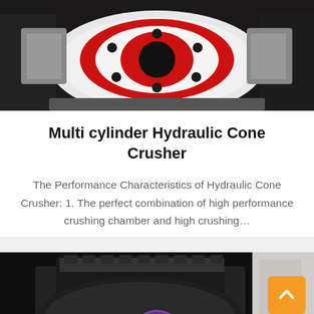[Figure (photo): Close-up photo of multi-cylinder hydraulic cone crusher components showing red and white metal parts with bolts and circular structure]
Multi cylinder Hydraulic Cone Crusher
The Performance Characteristics of Hydraulic Cone Crusher: 1. The perfect combination of high performance crushing chamber and high crushing…
[Figure (photo): Photo of large industrial cone crusher machinery in a factory or outdoor setting, dark metallic equipment with cylindrical components]
Leave Message
Chat Online